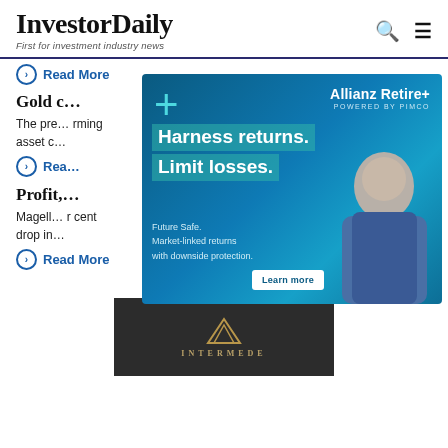InvestorDaily — First for investment industry news
Read More
Gold c…
The pre… rming asset c…
Read More
[Figure (infographic): Allianz Retire+ powered by PIMCO advertisement. Headline: Harness returns. Limit losses. Subtext: Future Safe. Market-linked returns with downside protection. Learn more button. Photo of mature man.]
Profit,…
Magell… r cent drop in…
Read More
[Figure (logo): Intermede logo on dark background with gold triangle A symbol and text INTERMEDE]